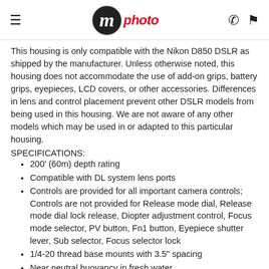m photo
This housing is only compatible with the Nikon D850 DSLR as shipped by the manufacturer. Unless otherwise noted, this housing does not accommodate the use of add-on grips, battery grips, eyepieces, LCD covers, or other accessories. Differences in lens and control placement prevent other DSLR models from being used in this housing. We are not aware of any other models which may be used in or adapted to this particular housing.
SPECIFICATIONS:
200' (60m) depth rating
Compatible with DL system lens ports
Controls are provided for all important camera controls; Controls are not provided for Release mode dial, Release mode dial lock release, Diopter adjustment control, Focus mode selector, PV button, Fn1 button, Eyepiece shutter lever, Sub selector, Focus selector lock
1/4-20 thread base mounts with 3.5" spacing
Near neutral buoyancy in fresh water
Actual buoyancy varies depending on choice of lens and